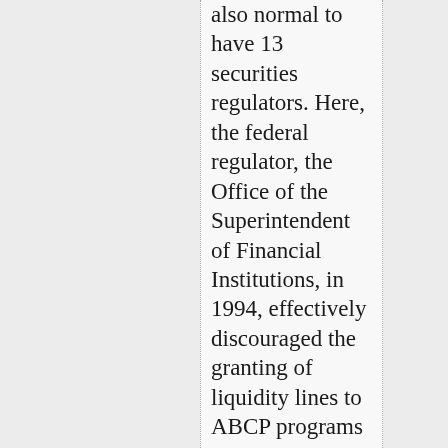also normal to have 13 securities regulators. Here, the federal regulator, the Office of the Superintendent of Financial Institutions, in 1994, effectively discouraged the granting of liquidity lines to ABCP programs except during what it called a "general market disruption."